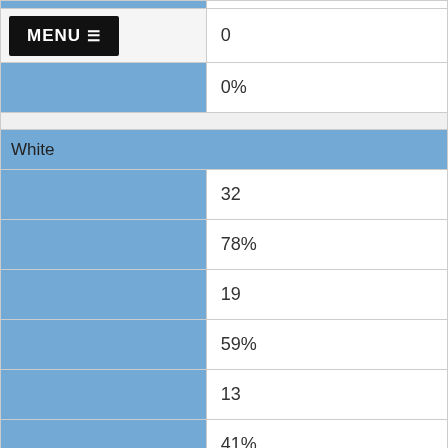| MENU ≡ (button) | 0 |
|  | 0% |
| White |  |
|  | 32 |
|  | 78% |
|  | 19 |
|  | 59% |
|  | 13 |
|  | 41% |
| Economically Disadvantaged (?) |  |